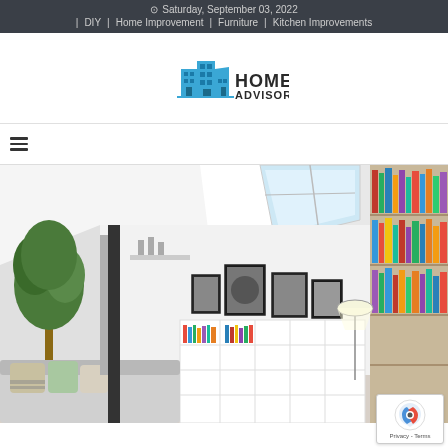Saturday, September 03, 2022  |  DIY  |  Home Improvement  |  Furniture  |  Kitchen Improvements
[Figure (logo): Home Advisor logo with blue building icon and bold text HOME ADVISOR]
hamburger menu icon
[Figure (photo): Interior photo of a bright attic/loft living room with slanted ceilings, skylights, bookshelves, framed art, a tree, and a sofa with pillows]